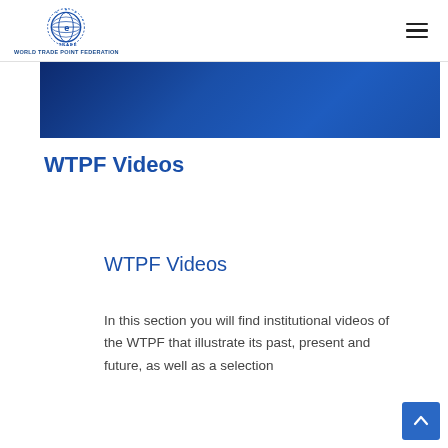WORLD TRADE POINT FEDERATION
[Figure (illustration): Hero banner with dark blue background and hexagon network pattern]
WTPF Videos
WTPF Videos
In this section you will find institutional videos of the WTPF that illustrate its past, present and future, as well as a selection